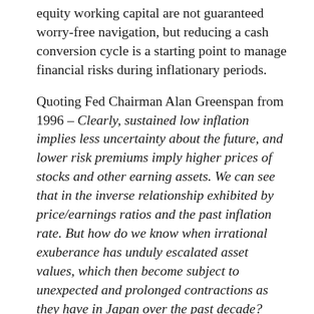equity working capital are not guaranteed worry-free navigation, but reducing a cash conversion cycle is a starting point to manage financial risks during inflationary periods.
Quoting Fed Chairman Alan Greenspan from 1996 – Clearly, sustained low inflation implies less uncertainty about the future, and lower risk premiums imply higher prices of stocks and other earning assets. We can see that in the inverse relationship exhibited by price/earnings ratios and the past inflation rate. But how do we know when irrational exuberance has unduly escalated asset values, which then become subject to unexpected and prolonged contractions as they have in Japan over the past decade? Summarized = we may not